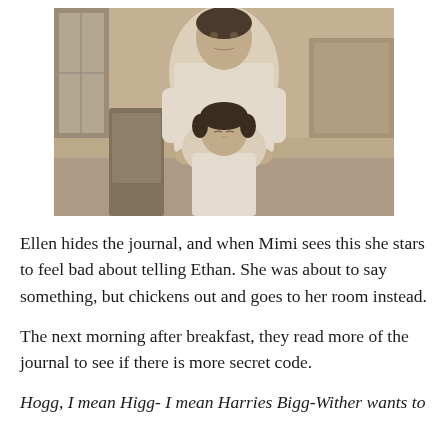[Figure (photo): Black and white photograph of a man standing behind a seated woman. The man is wearing a white short-sleeved shirt and looking down. The woman has short dark hair and is seated with eyes downcast. Interior room setting visible in background.]
Ellen hides the journal, and when Mimi sees this she stars to feel bad about telling Ethan. She was about to say something, but chickens out and goes to her room instead.
The next morning after breakfast, they read more of the journal to see if there is more secret code.
Hogg, I mean Higg- I mean Harries Bigg-Wither wants to